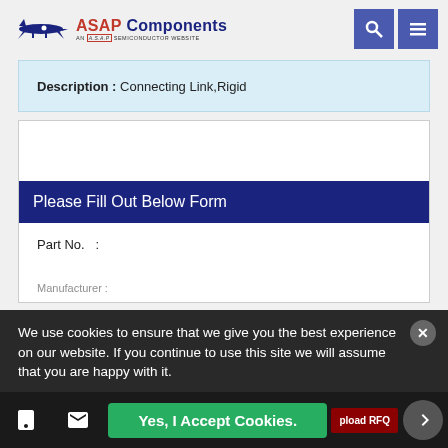[Figure (logo): ASAP Components logo with airplane silhouette and text 'ASAP Components - AN A.S.A.P SEMICONDUCTOR WEBSITE']
Description : Connecting Link,Rigid
Please Fill Out Below Form
Part No.  :
Manufacturer :
We use cookies to ensure that we give you the best experience on our website. If you continue to use this site we will assume that you are happy with it.
Yes, I Accept Cookies.
pload RFQ